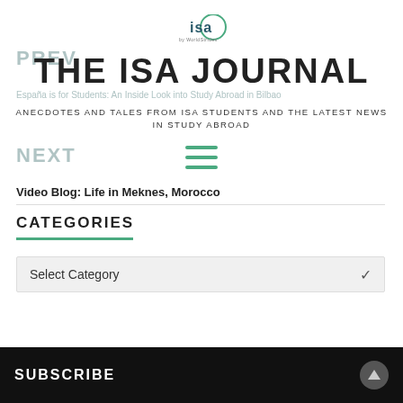[Figure (logo): ISA by WorldStrides logo — circular green logo with 'isa' text and 'by WorldStrides' subtitle]
PREV
THE ISA JOURNAL
España is for Students: An Inside Look into Study Abroad in Bilbao
ANECDOTES AND TALES FROM ISA STUDENTS AND THE LATEST NEWS IN STUDY ABROAD
NEXT
Video Blog: Life in Meknes, Morocco
CATEGORIES
Select Category
SUBSCRIBE